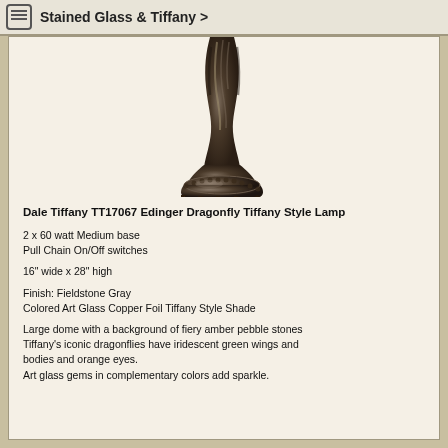Stained Glass & Tiffany >
[Figure (photo): Bottom portion of a Dale Tiffany lamp base in Fieldstone Gray finish, showing ornate twisted metal stem and decorative round base with beaded edge detail.]
Dale Tiffany TT17067 Edinger Dragonfly Tiffany Style Lamp
2 x 60 watt Medium base
Pull Chain On/Off switches
16" wide x 28" high
Finish: Fieldstone Gray
Colored Art Glass Copper Foil Tiffany Style Shade
Large dome with a background of fiery amber pebble stones
Tiffany's iconic dragonflies have iridescent green wings and bodies and orange eyes.
Art glass gems in complementary colors add sparkle.